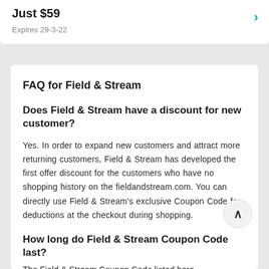Just $59
Expires 29-3-22
FAQ for Field & Stream
Does Field & Stream have a discount for new customer?
Yes. In order to expand new customers and attract more returning customers, Field & Stream has developed the first offer discount for the customers who have no shopping history on the fieldandstream.com. You can directly use Field & Stream's exclusive Coupon Code for deductions at the checkout during shopping.
How long do Field & Stream Coupon Code last?
The Field & Stream Coupon Code listed here...